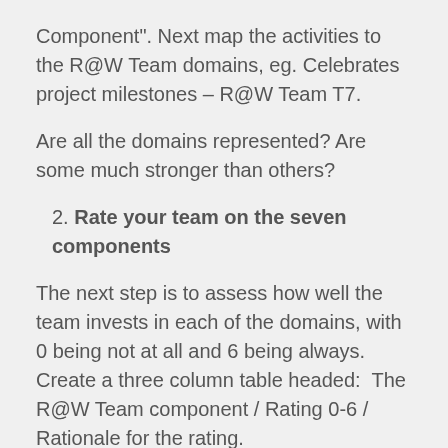Component". Next map the activities to the R@W Team domains, eg. Celebrates project milestones – R@W Team T7.
Are all the domains represented? Are some much stronger than others?
2. Rate your team on the seven components
The next step is to assess how well the team invests in each of the domains, with 0 being not at all and 6 being always. Create a three column table headed:  The R@W Team component / Rating 0-6 / Rationale for the rating.
This activity can be undertaken together for the team, or initially individually as an input to creating an agreed rating for the team.
Now you should have a good sense of the team's strengths...